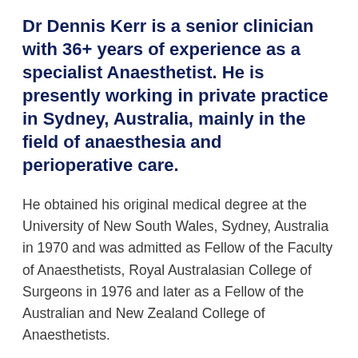Dr Dennis Kerr is a senior clinician with 36+ years of experience as a specialist Anaesthetist. He is presently working in private practice in Sydney, Australia, mainly in the field of anaesthesia and perioperative care.
He obtained his original medical degree at the University of New South Wales, Sydney, Australia in 1970 and was admitted as Fellow of the Faculty of Anaesthetists, Royal Australasian College of Surgeons in 1976 and later as a Fellow of the Australian and New Zealand College of Anaesthetists.